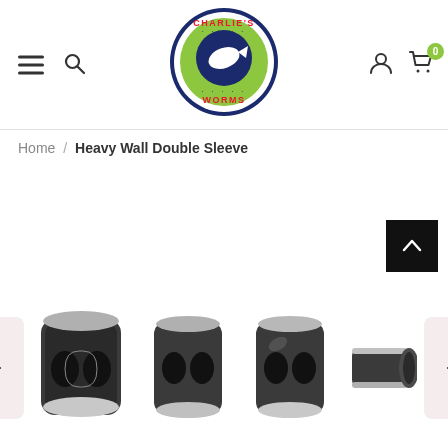[Figure (logo): Charlie's Worms circular logo with fish illustration and green/navy/red color scheme]
Home / Heavy Wall Double Sleeve
[Figure (photo): Four product thumbnails of Heavy Wall Double Sleeve crimp connectors shown in a horizontal row with left and right navigation arrows]
[Figure (illustration): Back to top button (black square with white upward chevron arrow)]